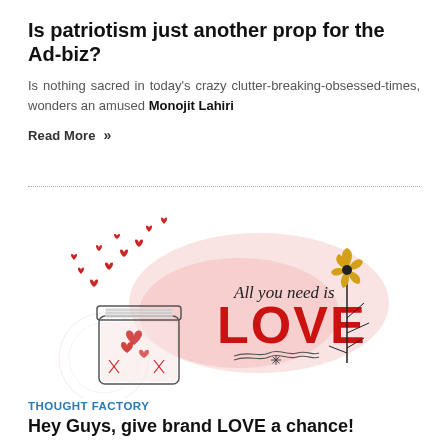Is patriotism just another prop for the Ad-biz?
Is nothing sacred in today's crazy clutter-breaking-obsessed-times, wonders an amused Monojit Lahiri
Read More »
[Figure (illustration): Decorative illustration with a mason jar filled with red hearts, red hearts floating upward, a large 'All you need is LOVE' text in red bold letters, a golden flower, and black branch/stem decorations on a pink watercolor background.]
THOUGHT FACTORY
Hey Guys, give brand LOVE a chance!